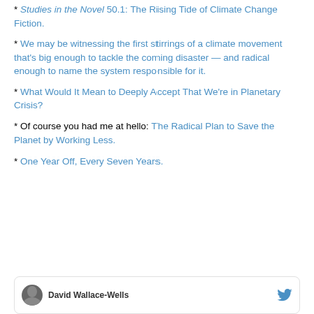* Studies in the Novel 50.1: The Rising Tide of Climate Change Fiction.
* We may be witnessing the first stirrings of a climate movement that's big enough to tackle the coming disaster — and radical enough to name the system responsible for it.
* What Would It Mean to Deeply Accept That We're in Planetary Crisis?
* Of course you had me at hello: The Radical Plan to Save the Planet by Working Less.
* One Year Off, Every Seven Years.
David Wallace-Wells [author footer]